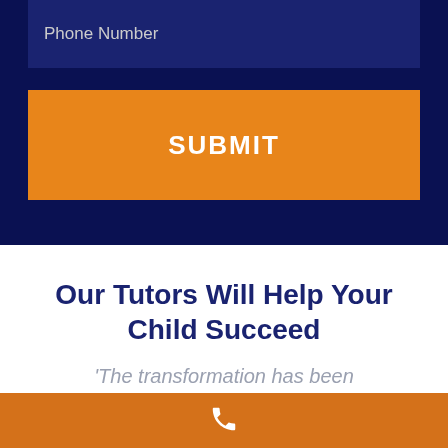Phone Number
SUBMIT
Our Tutors Will Help Your Child Succeed
'The transformation has been
[Figure (other): Phone call icon in white on orange background footer bar]